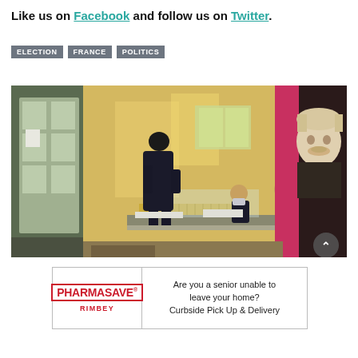Like us on Facebook and follow us on Twitter.
ELECTION
FRANCE
POLITICS
[Figure (photo): A voter approaches a registration table inside a yellow building where two masked poll workers sit behind a plexiglass screen. A large poster of Albert Einstein is visible on the right side of the image.]
[Figure (other): Pharmasave Rimbey advertisement. Text: Are you a senior unable to leave your home? Curbside Pick Up & Delivery]